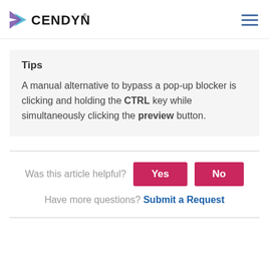CENDYN
Tips
A manual alternative to bypass a pop-up blocker is clicking and holding the CTRL key while simultaneously clicking the preview button.
Was this article helpful?  Yes  No
Have more questions? Submit a Request